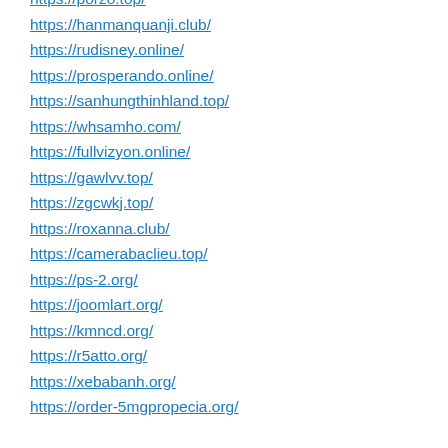https://porzo.top/
https://hanmanquanji.club/
https://rudisney.online/
https://prosperando.online/
https://sanhungthinhland.top/
https://whsamho.com/
https://fullvizyon.online/
https://gawlvv.top/
https://zgcwkj.top/
https://roxanna.club/
https://camerabaclieu.top/
https://ps-2.org/
https://joomlart.org/
https://kmncd.org/
https://r5atto.org/
https://xebabanh.org/
https://order-5mgpropecia.org/